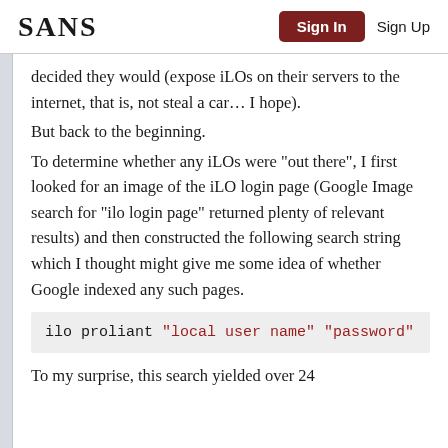SANS  Sign In  Sign Up
decided they would (expose iLOs on their servers to the internet, that is, not steal a car… I hope).
But back to the beginning.
To determine whether any iLOs were "out there", I first looked for an image of the iLO login page (Google Image search for “ilo login page” returned plenty of relevant results) and then constructed the following search string which I thought might give me some idea of whether Google indexed any such pages.
ilo proliant "local user name" "password"
To my surprise, this search yielded over 24